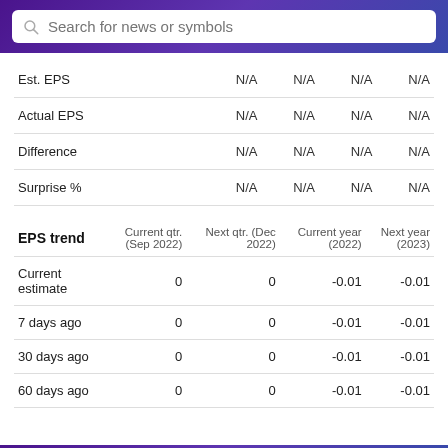|  | Col1 | Col2 | Col3 | Col4 |
| --- | --- | --- | --- | --- |
| Est. EPS | N/A | N/A | N/A | N/A |
| Actual EPS | N/A | N/A | N/A | N/A |
| Difference | N/A | N/A | N/A | N/A |
| Surprise % | N/A | N/A | N/A | N/A |
| EPS trend | Current qtr. (Sep 2022) | Next qtr. (Dec 2022) | Current year (2022) | Next year (2023) |
| --- | --- | --- | --- | --- |
| Current estimate | 0 | 0 | -0.01 | -0.01 |
| 7 days ago | 0 | 0 | -0.01 | -0.01 |
| 30 days ago | 0 | 0 | -0.01 | -0.01 |
| 60 days ago | 0 | 0 | -0.01 | -0.01 |